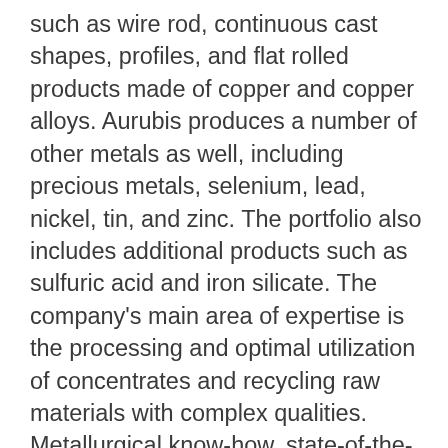such as wire rod, continuous cast shapes, profiles, and flat rolled products made of copper and copper alloys. Aurubis produces a number of other metals as well, including precious metals, selenium, lead, nickel, tin, and zinc. The portfolio also includes additional products such as sulfuric acid and iron silicate. The company's main area of expertise is the processing and optimal utilization of concentrates and recycling raw materials with complex qualities. Metallurgical know-how, state-of-the-art plant facilities, and exceptionally high environmental standards for the industry make Aurubis an attractive partner for raw material suppliers. With its products, Aurubis establishes the foundation for technologies of the future. Metals are essential drivers of megatrends